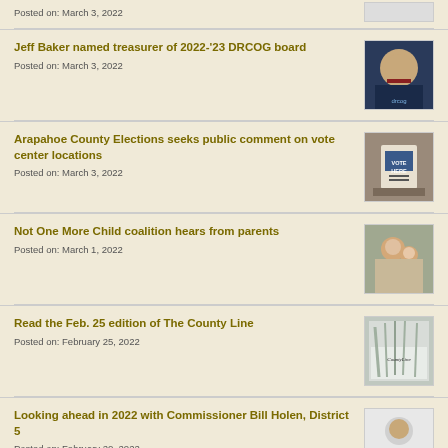Posted on: March 3, 2022
Jeff Baker named treasurer of 2022-'23 DRCOG board
Posted on: March 3, 2022
[Figure (photo): Photo of Jeff Baker in a suit with DRCOG logo]
Arapahoe County Elections seeks public comment on vote center locations
Posted on: March 3, 2022
[Figure (photo): Photo of a Vote Here sign]
Not One More Child coalition hears from parents
Posted on: March 1, 2022
[Figure (photo): Photo of a parent with children]
Read the Feb. 25 edition of The County Line
Posted on: February 25, 2022
[Figure (photo): County Line newsletter cover with winter trees]
Looking ahead in 2022 with Commissioner Bill Holen, District 5
Posted on: February 20, 2022
[Figure (photo): Photo of Commissioner Bill Holen with Conversations branding]